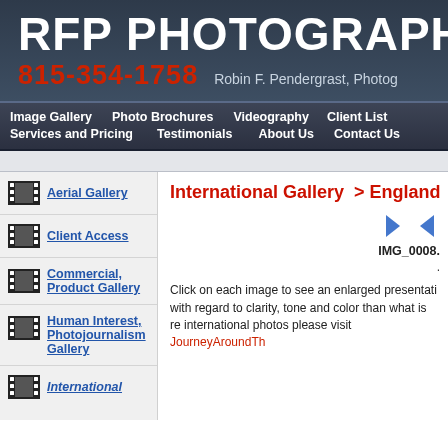RFP PHOTOGRAPHY, IN
815-354-1758   Robin F. Pendergrast, Photog
Image Gallery  Photo Brochures  Videography  Client List  Services and Pricing  Testimonials  About Us  Contact Us
Aerial Gallery
Client Access
Commercial, Product Gallery
Human Interest, Photojournalism Gallery
International
International Gallery  > England
IMG_0008.
Click on each image to see an enlarged presentation with regard to clarity, tone and color than what is re international photos please visit JourneyAroundTh